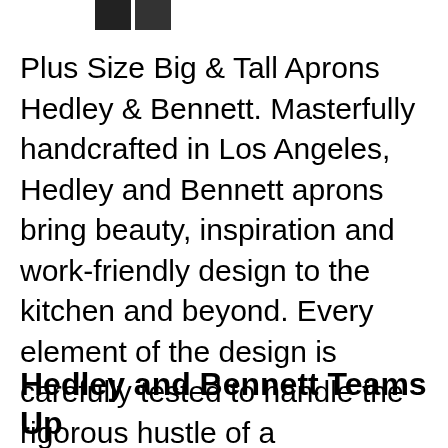[Figure (photo): Two small dark thumbnail images at the top left of the page]
Plus Size Big & Tall Aprons Hedley & Bennett. Masterfully handcrafted in Los Angeles, Hedley and Bennett aprons bring beauty, inspiration and work-friendly design to the kitchen and beyond. Every element of the design is carefully tested to handle the rigorous hustle of a professional kitchenвЂ¦, Find helpful customer reviews and review ratings for hedley & bennett Pho Classic Apron - Gray Denim - Unisex & One Size Fits Most at Amazon.com. Read honest and unbiased product reviews from our users..
Hedley and Bennett Teams Up